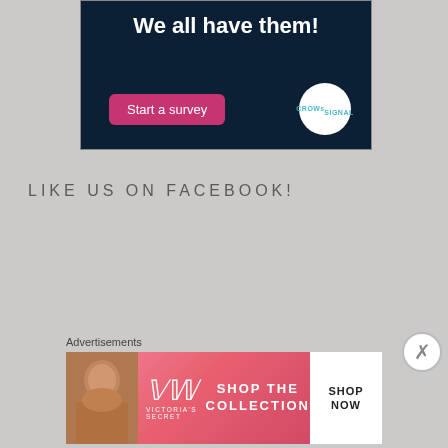[Figure (screenshot): Dark navy blue advertisement banner with bold white text 'We all have them!', a pink 'Start a survey' button, and a circular Crowdsignal logo on the right]
LIKE US ON FACEBOOK!
Advertisements
[Figure (screenshot): Victoria's Secret advertisement banner with model, logo, 'SHOP THE COLLECTION' text, and 'SHOP NOW' button on pink gradient background]